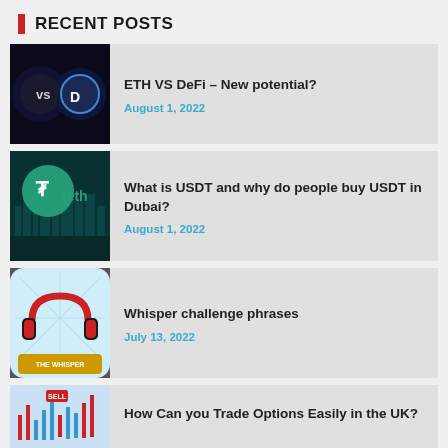RECENT POSTS
ETH VS DeFi – New potential? | August 1, 2022
What is USDT and why do people buy USDT in Dubai? | August 1, 2022
Whisper challenge phrases | July 13, 2022
How Can you Trade Options Easily in the UK?